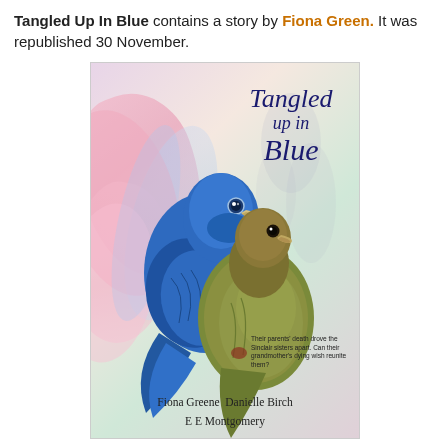Tangled Up In Blue contains a story by Fiona Green. It was republished 30 November.
[Figure (illustration): Book cover of 'Tangled Up In Blue' showing two birds — a vibrant blue bird and a brown-green bird — against a soft watercolor background with pink and blue floral shapes. Title in dark blue italic script at top right. Authors listed at bottom: Fiona Greene, Danielle Birch, E E Montgomery. Tagline: 'Their parents' death drove the Sinclair sisters apart. Can their grandmother's dying wish reunite them?']